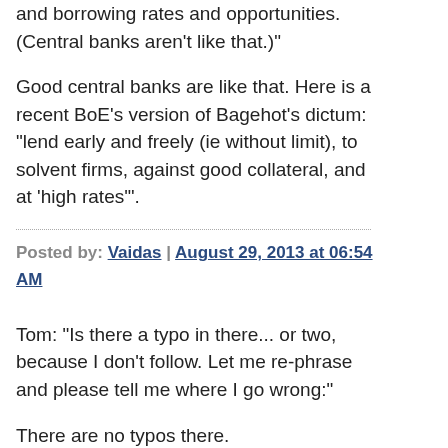and borrowing rates and opportunities. (Central banks aren't like that.)"
Good central banks are like that. Here is a recent BoE's version of Bagehot's dictum: "lend early and freely (ie without limit), to solvent firms, against good collateral, and at 'high rates'".
Posted by: Vaidas | August 29, 2013 at 06:54 AM
Tom: "Is there a typo in there... or two, because I don't follow. Let me re-phrase and please tell me where I go wrong:"
There are no typos there.